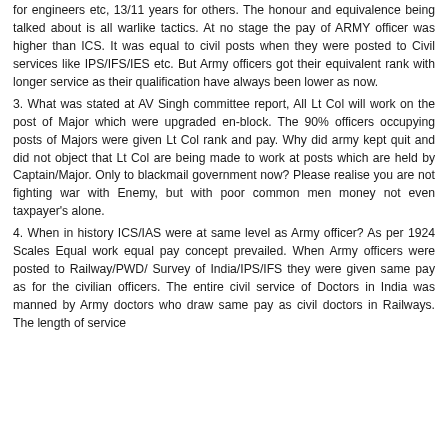for engineers etc, 13/11 years for others. The honour and equivalence being talked about is all warlike tactics. At no stage the pay of ARMY officer was higher than ICS. It was equal to civil posts when they were posted to Civil services like IPS/IFS/IES etc. But Army officers got their equivalent rank with longer service as their qualification have always been lower as now.
3. What was stated at AV Singh committee report, All Lt Col will work on the post of Major which were upgraded en-block. The 90% officers occupying posts of Majors were given Lt Col rank and pay. Why did army kept quit and did not object that Lt Col are being made to work at posts which are held by Captain/Major. Only to blackmail government now? Please realise you are not fighting war with Enemy, but with poor common men money not even taxpayer's alone.
4. When in history ICS/IAS were at same level as Army officer? As per 1924 Scales Equal work equal pay concept prevailed. When Army officers were posted to Railway/PWD/ Survey of India/IPS/IFS they were given same pay as for the civilian officers. The entire civil service of Doctors in India was manned by Army doctors who draw same pay as civil doctors in Railways. The length of service